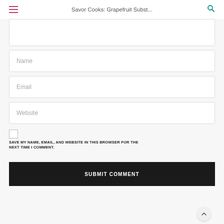Savor Cooks: Grapefruit Subst...
Name
Email
Website
SAVE MY NAME, EMAIL, AND WEBSITE IN THIS BROWSER FOR THE NEXT TIME I COMMENT.
SUBMIT COMMENT